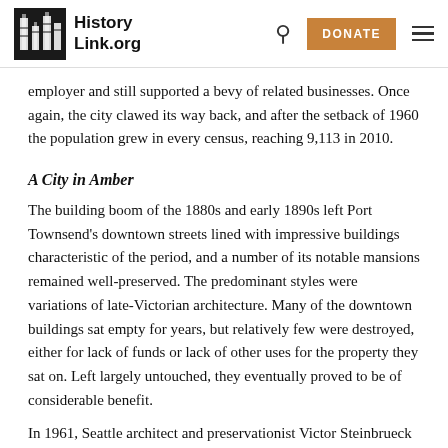HistoryLink.org
employer and still supported a bevy of related businesses. Once again, the city clawed its way back, and after the setback of 1960 the population grew in every census, reaching 9,113 in 2010.
A City in Amber
The building boom of the 1880s and early 1890s left Port Townsend's downtown streets lined with impressive buildings characteristic of the period, and a number of its notable mansions remained well-preserved. The predominant styles were variations of late-Victorian architecture. Many of the downtown buildings sat empty for years, but relatively few were destroyed, either for lack of funds or lack of other uses for the property they sat on. Left largely untouched, they eventually proved to be of considerable benefit.
In 1961, Seattle architect and preservationist Victor Steinbrueck (1911-1985) gave a lecture in Port Townsend sponsored by the city's Art League and Chamber of